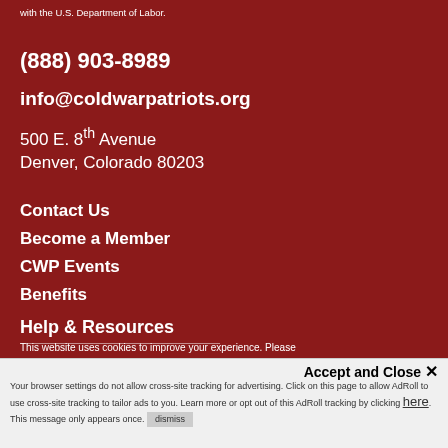with the U.S. Department of Labor.
(888) 903-8989
info@coldwarpatriots.org
500 E. 8th Avenue
Denver, Colorado 80203
Contact Us
Become a Member
CWP Events
Benefits
Help & Resources
This website uses cookies to improve your experience. Please
Accept and Close ✕
Your browser settings do not allow cross-site tracking for advertising. Click on this page to allow AdRoll to use cross-site tracking to tailor ads to you. Learn more or opt out of this AdRoll tracking by clicking here. This message only appears once.